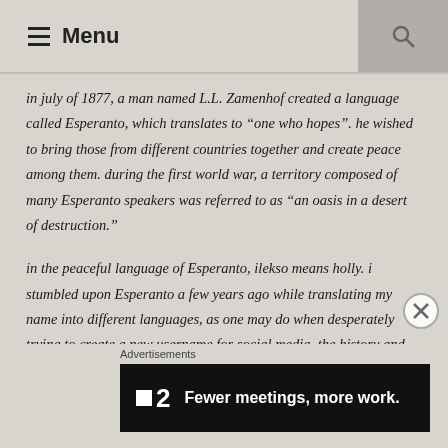Menu
in july of 1877, a man named L.L. Zamenhof created a language called Esperanto, which translates to “one who hopes”. he wished to bring those from different countries together and create peace among them. during the first world war, a territory composed of many Esperanto speakers was referred to as “an oasis in a desert of destruction.”
in the peaceful language of Esperanto, ilekso means holly. i stumbled upon Esperanto a few years ago while translating my name into different languages, as one may do when desperately trying to create a new username for social media. the history and the meaning behind the language fit seamlessly with my beliefs, my goals, and my practices. and
Advertisements  Fewer meetings, more work.